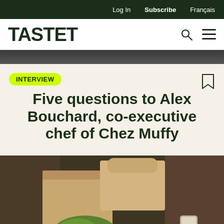Log In  Subscribe  Français
TASTET
[Figure (photo): Partial hero photo strip at top of page, dark background showing person]
INTERVIEW
Five questions to Alex Bouchard, co-executive chef of Chez Muffy
[Figure (photo): Photo of a tattooed person holding takeout food boxes with salad and a bowl of food, viewed from above]